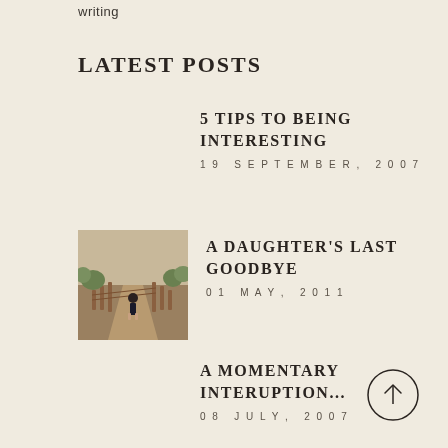writing
LATEST POSTS
5 TIPS TO BEING INTERESTING
19 SEPTEMBER, 2007
[Figure (photo): A young girl in a dark school uniform walking along a dirt path lined with wooden posts and rope, outdoor scenic background]
A DAUGHTER'S LAST GOODBYE
01 MAY, 2011
A MOMENTARY INTERUPTION...
08 JULY, 2007
[Figure (other): Scroll-to-top button: circle with upward arrow]